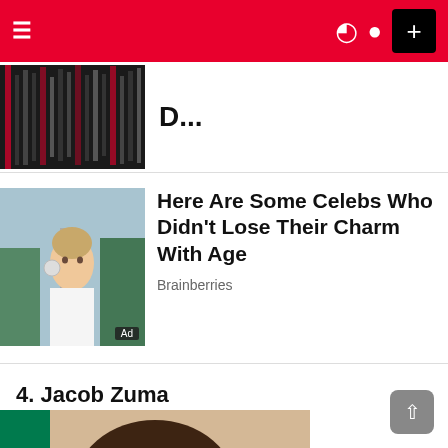Navigation bar with hamburger menu, dark mode toggle, user icon, and + button
[Figure (photo): Partial article thumbnail showing a dark crowd/audience image]
D...
[Figure (photo): Advertisement photo of a blonde woman (Sharon Stone-like celebrity) at an outdoor event, with Ad badge]
Here Are Some Celebs Who Didn't Lose Their Charm With Age
Brainberries
4. Jacob Zuma
[Figure (photo): Close-up photo of Jacob Zuma, a bald man with glasses, with South African flag in background]